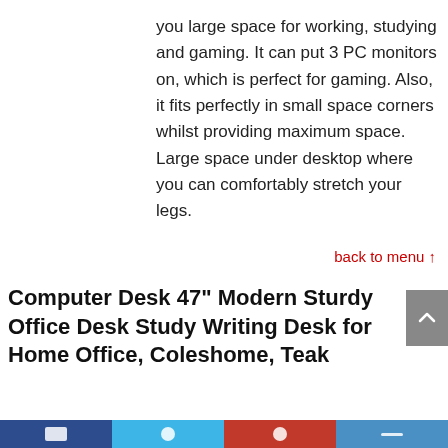you large space for working, studying and gaming. It can put 3 PC monitors on, which is perfect for gaming. Also, it fits perfectly in small space corners whilst providing maximum space. Large space under desktop where you can comfortably stretch your legs.
back to menu ↑
Computer Desk 47" Modern Sturdy Office Desk Study Writing Desk for Home Office, Coleshome, Teak